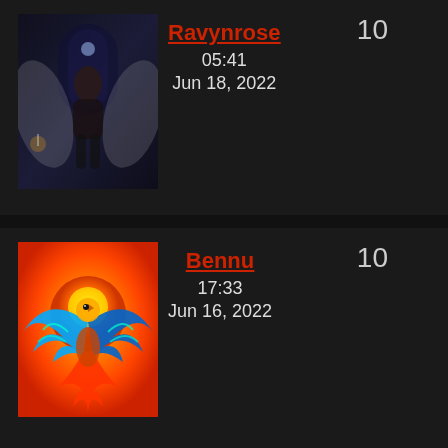[Figure (photo): Dark fantasy illustration showing a female figure with white wings sitting in a gothic archway with candlelight, dark blue/grey tones]
10
Ravynrose
05:41
Jun 18, 2022
[Figure (illustration): Colorful phoenix/bird illustration with blue, orange, and red feathers spreading outward against an orange/yellow circular background]
10
Bennu
17:33
Jun 16, 2022